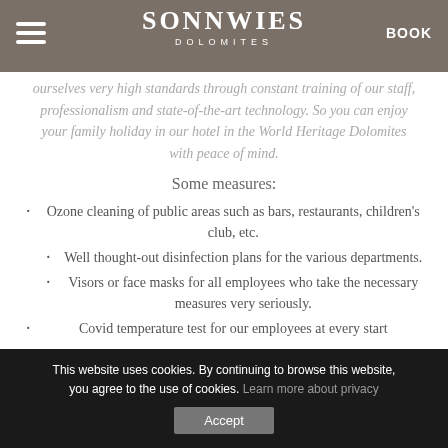SONNWIES DOLOMITES | BOOK
ourselves very high standards through constant training of our staff, professionalism and state-of-the-art technology. So you can enjoy your family holiday in our hotel in the World Heritage Dolomites with peace of mind.
Some measures:
Ozone cleaning of public areas such as bars, restaurants, children's club, etc.
Well thought-out disinfection plans for the various departments.
Visors or face masks for all employees who take the necessary measures very seriously.
Covid temperature test for our employees at every start
This website uses cookies. By continuing to browse this website, you agree to the use of cookies. Learn more about privacy Accept